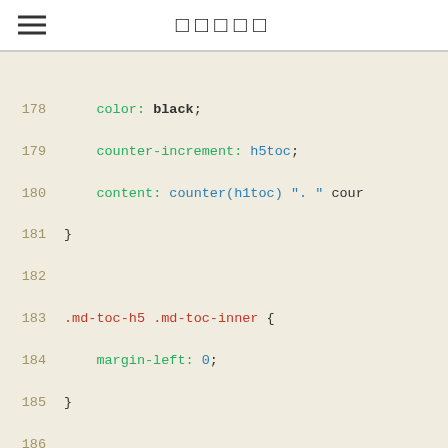□□□□□
CSS code snippet, lines 178-193, showing color, counter-increment, content, margin-left properties and .md-toc-h5, .md-toc-h6 selectors